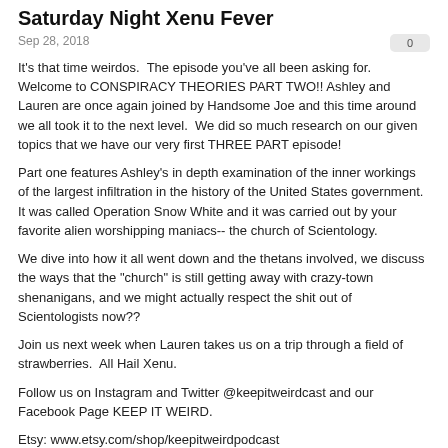Saturday Night Xenu Fever
Sep 28, 2018
It's that time weirdos.  The episode you've all been asking for.  Welcome to CONSPIRACY THEORIES PART TWO!! Ashley and Lauren are once again joined by Handsome Joe and this time around we all took it to the next level.  We did so much research on our given topics that we have our very first THREE PART episode!
Part one features Ashley's in depth examination of the inner workings of the largest infiltration in the history of the United States government.  It was called Operation Snow White and it was carried out by your favorite alien worshipping maniacs-- the church of Scientology.
We dive into how it all went down and the thetans involved, we discuss the ways that the "church" is still getting away with crazy-town shenanigans, and we might actually respect the shit out of Scientologists now??
Join us next week when Lauren takes us on a trip through a field of strawberries.  All Hail Xenu.
Follow us on Instagram and Twitter @keepitweirdcast and our Facebook Page KEEP IT WEIRD.
Etsy: www.etsy.com/shop/keepitweirdpodcast
Patreon: www.patreon.com/keepitweirdpodcast